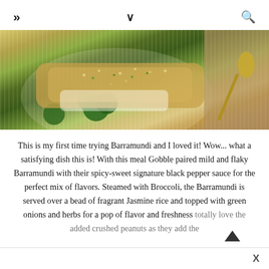» ∨ 🔍
[Figure (photo): Top-down view of a plate with Barramundi fish served over jasmine rice and broccoli, topped with crushed peanuts and green herbs, on a striped plate with a gold spoon on a textured surface.]
This is my first time trying Barramundi and I loved it! Wow... what a satisfying dish this is! With this meal Gobble paired mild and flaky Barramundi with their spicy-sweet signature black pepper sauce for the perfect mix of flavors. Steamed with Broccoli, the Barramundi is served over a bead of fragrant Jasmine rice and topped with green onions and herbs for a pop of flavor and freshness. I totally love the added crushed peanuts as they add the